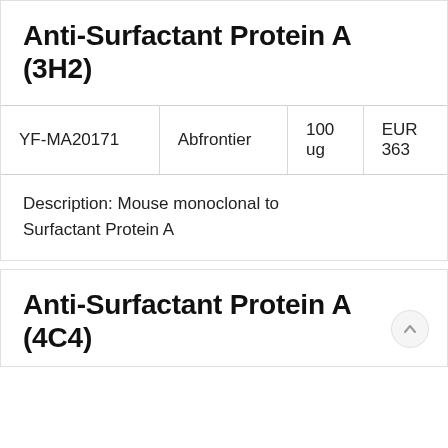Anti-Surfactant Protein A (3H2)
|  |  |  |  |
| --- | --- | --- | --- |
| YF-MA20171 | Abfrontier | 100 ug | EUR 363 |
Description: Mouse monoclonal to Surfactant Protein A
Anti-Surfactant Protein A (4C4)